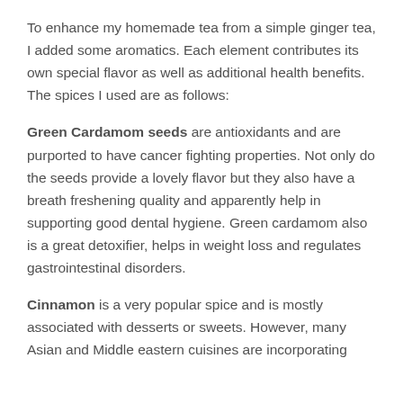To enhance my homemade tea from a simple ginger tea, I added some aromatics. Each element contributes its own special flavor as well as additional health benefits. The spices I used are as follows:
Green Cardamom seeds are antioxidants and are purported to have cancer fighting properties. Not only do the seeds provide a lovely flavor but they also have a breath freshening quality and apparently help in supporting good dental hygiene. Green cardamom also is a great detoxifier, helps in weight loss and regulates gastrointestinal disorders.
Cinnamon is a very popular spice and is mostly associated with desserts or sweets. However, many Asian and Middle eastern cuisines are incorporating